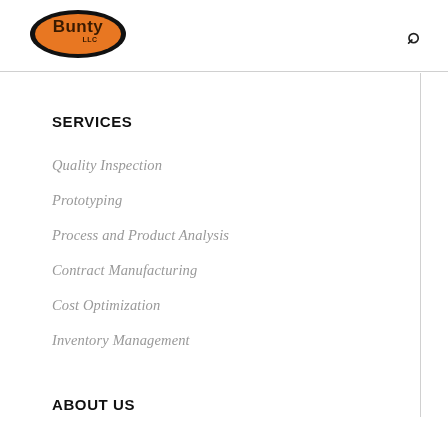[Figure (logo): Bunty LLC logo: black oval with orange fill and 'Bunty LLC' text in dark brown]
SERVICES
Quality Inspection
Prototyping
Process and Product Analysis
Contract Manufacturing
Cost Optimization
Inventory Management
ABOUT US